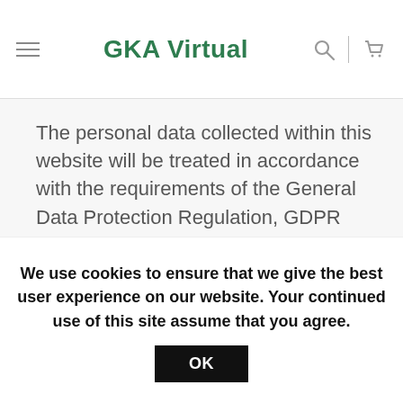GKA Virtual
The personal data collected within this website will be treated in accordance with the requirements of the General Data Protection Regulation, GDPR and the Organic Data Protection Law, LOPD, and, in every circumstance, in the way each case is explained on the data collection forms. For more information consult: Privacy and Cookies Policy.
This website uses third-party cookies for analytical
We use cookies to ensure that we give the best user experience on our website. Your continued use of this site assume that you agree.